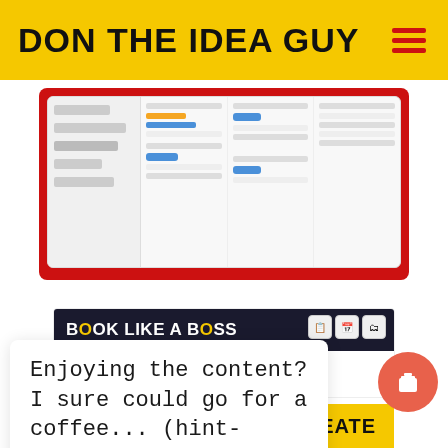DON THE IDEA GUY
[Figure (screenshot): Screenshot of a web application dashboard with a red background accent, showing a task/project management interface with sidebar navigation and multiple columns of content cards]
[Figure (screenshot): Book Like A Boss promotional card showing the logo on a dark background with the text 'List services, schedule']
Enjoying the content? I sure could go for a coffee... (hint-hint!)
[Figure (screenshot): Partial image at bottom with CREATE label in yellow on dark background]